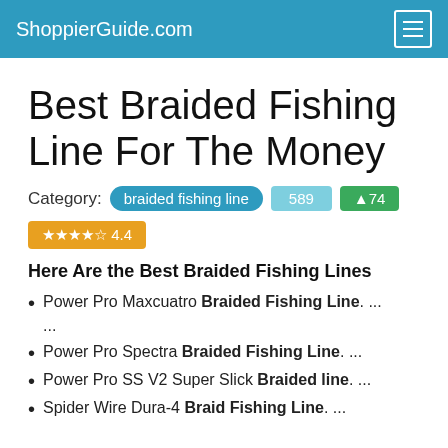ShoppierGuide.com
Best Braided Fishing Line For The Money
Category: braided fishing line  589  ↑74
★★★★☆ 4.4
Here Are the Best Braided Fishing Lines
Power Pro Maxcuatro Braided Fishing Line. ...
Power Pro Spectra Braided Fishing Line. ...
Power Pro SS V2 Super Slick Braided line. ...
Spider Wire Dura-4 Braid Fishing Line. ...